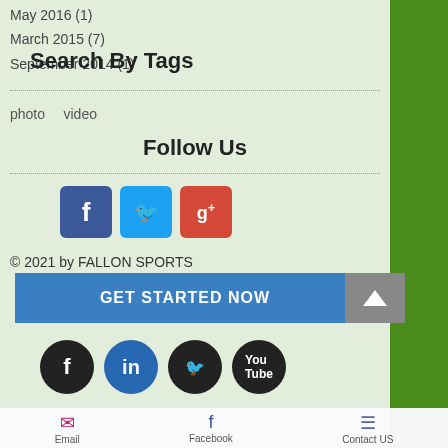May 2016 (1)
March 2015 (7)
September 2014 (1)
Search By Tags
photo
video
Follow Us
[Figure (other): Social media icons: Facebook (blue), Twitter (light blue), Google+ (red)]
© 2021 by FALLON SPORTS
GET STARTED NOW
[Figure (other): Bottom social media circle icons: Facebook, LinkedIn, Twitter, YouTube]
Email   Facebook   Contact US